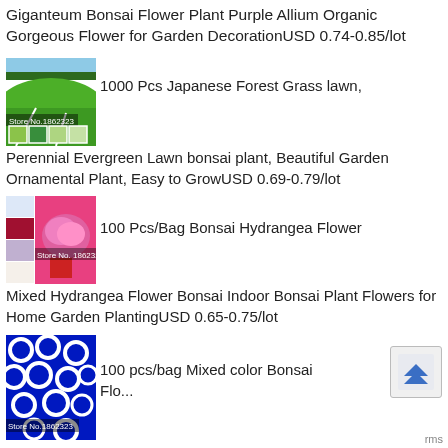Giganteum Bonsai Flower Plant Purple Allium Organic Gorgeous Flower for Garden DecorationUSD 0.74-0.85/lot
[Figure (photo): Green grass lawn hill with colored thumbnail images at bottom and Store No.1862323 label]
1000 Pcs Japanese Forest Grass lawn, Perennial Evergreen Lawn bonsai plant, Beautiful Garden Ornamental Plant, Easy to GrowUSD 0.69-0.79/lot
[Figure (photo): Grid of hydrangea flower images with Store No.1862323 overlay]
100 Pcs/Bag Bonsai Hydrangea Flower Mixed Hydrangea Flower Bonsai Indoor Bonsai Plant Flowers for Home Garden PlantingUSD 0.65-0.75/lot
[Figure (photo): Blue bonsai flowers with white circular patterns and Store No.1862323 label]
100 pcs/bag Mixed color Bonsai Flo...